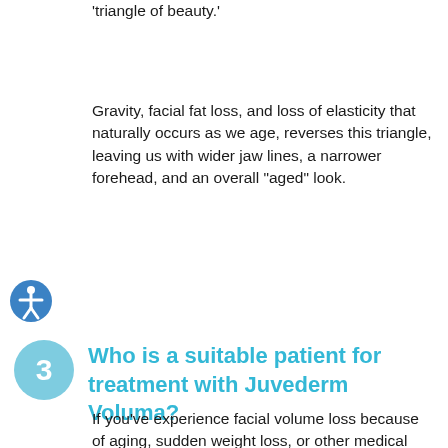'triangle of beauty.'
Gravity, facial fat loss, and loss of elasticity that naturally occurs as we age, reverses this triangle, leaving us with wider jaw lines, a narrower forehead, and an overall “aged” look.
[Figure (illustration): Blue circular accessibility icon with white stick figure person with arms outstretched]
Who is a suitable patient for treatment with Juvederm Voluma?
If you’ve experience facial volume loss because of aging, sudden weight loss, or other medical problems, you could be a